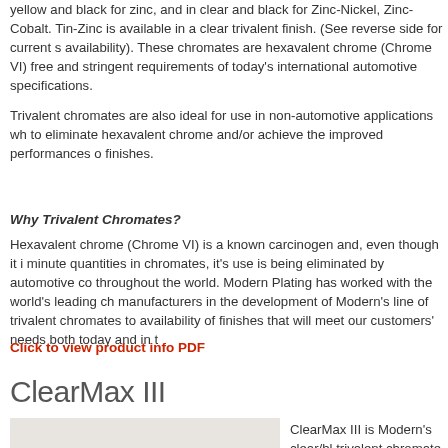yellow and black for zinc, and in clear and black for Zinc-Nickel, Zinc-Cobalt. Tin-Zinc is available in a clear trivalent finish. (See reverse side for current s availability). These chromates are hexavalent chrome (Chrome VI) free and stringent requirements of today's international automotive specifications.
Trivalent chromates are also ideal for use in non-automotive applications wh to eliminate hexavalent chrome and/or achieve the improved performances finishes.
Why Trivalent Chromates?
Hexavalent chrome (Chrome VI) is a known carcinogen and, even though it minute quantities in chromates, it's use is being eliminated by automotive co throughout the world. Modern Plating has worked with the world's leading ch manufacturers in the development of Modern's line of trivalent chromates to availability of finishes that will meet our customers' needs both today and in t
Click to view product info PDF
ClearMax III
[Figure (photo): Photo of ClearMax III plated metal parts/components]
ClearMax III is Modern's clear/bl trivalent chromate. This chromate be used in conjunction with vario